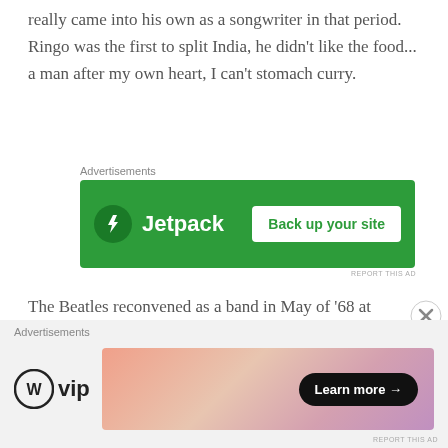really came into his own as a songwriter in that period. Ringo was the first to split India, he didn't like the food... a man after my own heart, I can't stomach curry.
[Figure (screenshot): Jetpack advertisement banner with green background, Jetpack logo on left and 'Back up your site' button on right]
The Beatles reconvened as a band in May of '68 at George's house in the London neighborhood of Esher. They cut a bunch of acoustic demos that have come to be known by bootleggers as the Esher Sessions. Disc 3 of this new box is the (basically) complete
[Figure (screenshot): WordPress VIP advertisement banner with gradient background and 'Learn more' button]